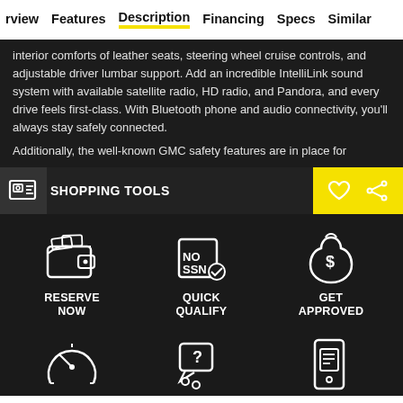rview  Features  Description  Financing  Specs  Similar
interior comforts of leather seats, steering wheel cruise controls, and adjustable driver lumbar support. Add an incredible IntelliLink sound system with available satellite radio, HD radio, and Pandora, and every drive feels first-class. With Bluetooth phone and audio connectivity, you'll always stay safely connected.

Additionally, the well-known GMC safety features are in place for
SHOPPING TOOLS
[Figure (infographic): Three shopping tool icons: RESERVE NOW (wallet icon), QUICK QUALIFY (NO SSN badge icon), GET APPROVED (money bag with dollar sign icon)]
[Figure (infographic): Three bottom icons partially visible: speedometer, chat/question bubble, mobile chat screen]